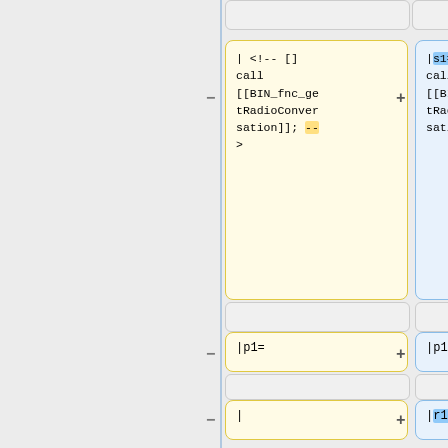[Figure (screenshot): Side-by-side diff view showing wiki/code changes. Left column (yellow, minus/removed) and right column (blue, plus/added) show code blocks with template syntax. Top pair: left has '| <!-- [] call [[BIN_fnc_getRadioConversation]]; -->' with semicolon highlighted yellow; right has '|s1= <!-- [] call [[BIN_fnc_getRadioConversation]] -->' with 's1=' highlighted blue. Middle pair: both show '|p1='. Lower pair: left shows '|', right shows '|r1=' with 'r1=' highlighted blue. Bottom pair: left shows '|x1= <code></code>' with 'code' highlighted yellow; right shows '|x1= <!-- <sqf>[] call BIN_fnc_getRadioConversation;</sqf>' with text highlighted blue.]